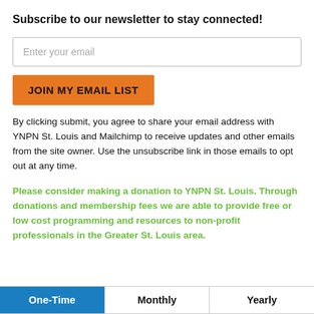Subscribe to our newsletter to stay connected!
Enter your email
JOIN MY EMAIL LIST
By clicking submit, you agree to share your email address with YNPN St. Louis and Mailchimp to receive updates and other emails from the site owner. Use the unsubscribe link in those emails to opt out at any time.
Please consider making a donation to YNPN St. Louis. Through donations and membership fees we are able to provide free or low cost programming and resources to non-profit professionals in the Greater St. Louis area.
| One-Time | Monthly | Yearly |
| --- | --- | --- |